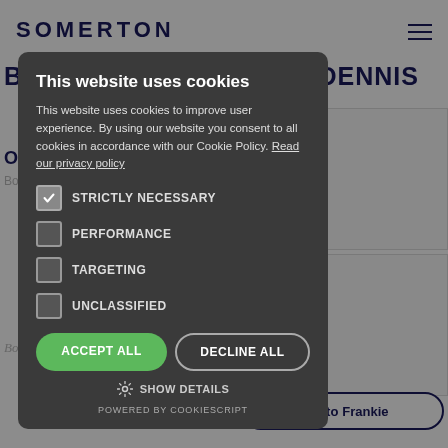SOMERTON
BOXING WITH FRANKIE DENNIS
This website uses cookies
This website uses cookies to improve user experience. By using our website you consent to all cookies in accordance with our Cookie Policy. Read our privacy policy
STRICTLY NECESSARY
PERFORMANCE
TARGETING
UNCLASSIFIED
ACCEPT ALL
DECLINE ALL
SHOW DETAILS
POWERED BY COOKIESCRIPT